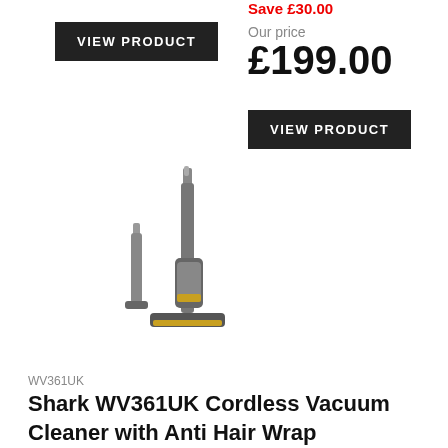VIEW PRODUCT
Save £30.00
Our price
£199.00
VIEW PRODUCT
[Figure (photo): Shark WV361UK cordless vacuum cleaner product image showing the upright vacuum with attachments on a white background]
WV361UK
Shark WV361UK Cordless Vacuum Cleaner with Anti Hair Wrap Technology - Run Time 16 Mintues -